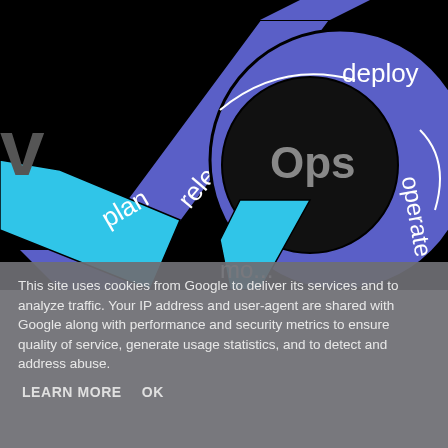[Figure (infographic): DevOps infinity loop diagram on black background showing cycle stages: plan, release, deploy, operate, monitor — rendered as interlocking arrows in blue and cyan colors with 'Ops' text in center dark circle]
This site uses cookies from Google to deliver its services and to analyze traffic. Your IP address and user-agent are shared with Google along with performance and security metrics to ensure quality of service, generate usage statistics, and to detect and address abuse.
LEARN MORE
OK